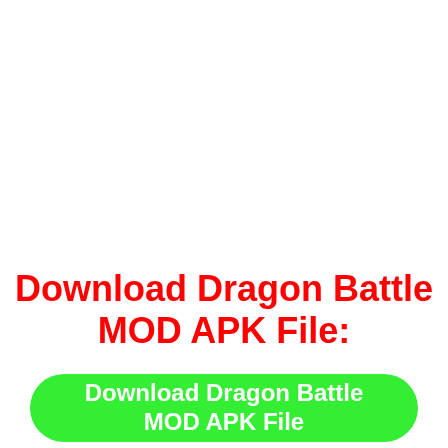Download Dragon Battle MOD APK File:
[Figure (other): Green rounded button with white text reading 'Download Dragon Battle MOD APK File']